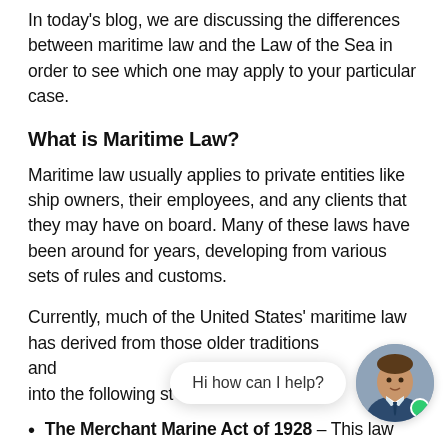In today's blog, we are discussing the differences between maritime law and the Law of the Sea in order to see which one may apply to your particular case.
What is Maritime Law?
Maritime law usually applies to private entities like ship owners, their employees, and any clients that they may have on board. Many of these laws have been around for years, developing from various sets of rules and customs.
Currently, much of the United States' maritime law has derived from those older traditions and into the following st
The Merchant Marine Act of 1928 – This law